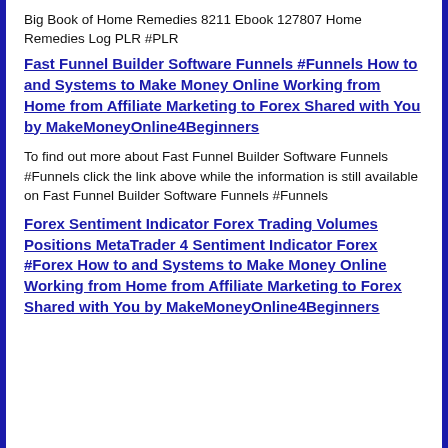Big Book of Home Remedies 8211 Ebook 127807 Home Remedies Log PLR #PLR
Fast Funnel Builder Software Funnels #Funnels How to and Systems to Make Money Online Working from Home from Affiliate Marketing to Forex Shared with You by MakeMoneyOnline4Beginners
To find out more about Fast Funnel Builder Software Funnels #Funnels click the link above while the information is still available on Fast Funnel Builder Software Funnels #Funnels
Forex Sentiment Indicator Forex Trading Volumes Positions MetaTrader 4 Sentiment Indicator Forex #Forex How to and Systems to Make Money Online Working from Home from Affiliate Marketing to Forex Shared with You by MakeMoneyOnline4Beginners